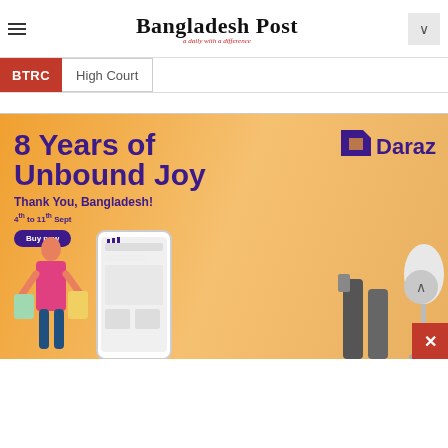Bangladesh Post
BTRC | High Court
[Figure (illustration): Daraz advertisement banner: '8 Years of Unbound Joy – Thank You, Bangladesh! 4th to 11th Sept – Buy now' with Daraz logo, woman with shopping bags, phone mockup, and product imagery on orange gradient background]